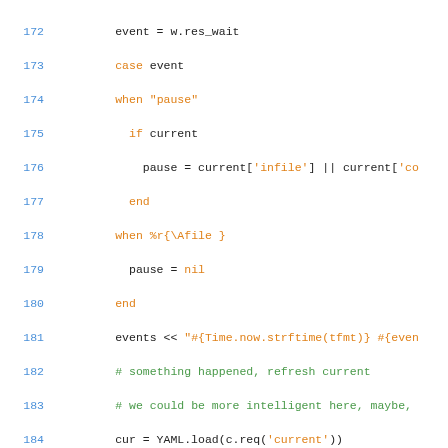[Figure (screenshot): Source code listing in Ruby showing lines 172-201 with syntax highlighting. Line numbers in blue, keywords in orange, comments in green, regular code in dark/black.]